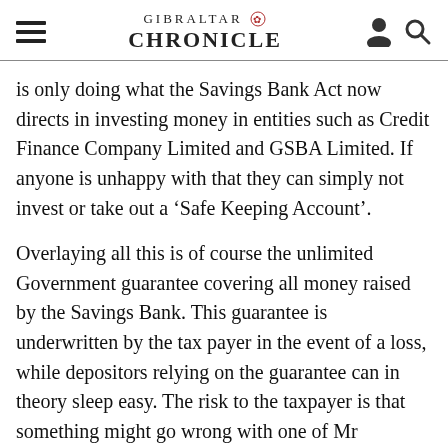GIBRALTAR CHRONICLE
is only doing what the Savings Bank Act now directs in investing money in entities such as Credit Finance Company Limited and GSBA Limited. If anyone is unhappy with that they can simply not invest or take out a ‘Safe Keeping Account’.
Overlaying all this is of course the unlimited Government guarantee covering all money raised by the Savings Bank. This guarantee is underwritten by the tax payer in the event of a loss, while depositors relying on the guarantee can in theory sleep easy. The risk to the taxpayer is that something might go wrong with one of Mr Bossano’s investments. none of which as he